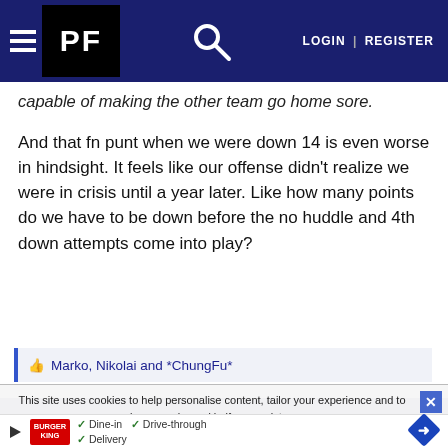PF | LOGIN | REGISTER
capable of making the other team go home sore.
And that fn punt when we were down 14 is even worse in hindsight. It feels like our offense didn't realize we were in crisis until a year later. Like how many points do we have to be down before the no huddle and 4th down attempts come into play?
👍 Marko, Nikolai and *ChungFu*
This site uses cookies to help personalise content, tailor your experience and to keep you logged in if you register.
By continuing to use this site, you are consenting to our use of cookies.
[Figure (screenshot): Burger King advertisement banner with Dine-in, Drive-through, Delivery options and a blue diamond direction sign]